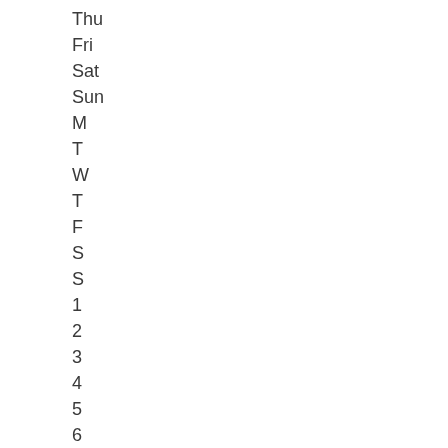Thu
Fri
Sat
Sun
M
T
W
T
F
S
S
1
2
3
4
5
6
7